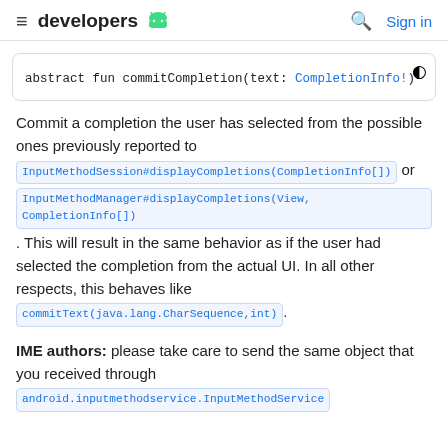≡ developers 🤖   🔍 Sign in
Commit a completion the user has selected from the possible ones previously reported to InputMethodSession#displayCompletions(CompletionInfo[]) or InputMethodManager#displayCompletions(View, CompletionInfo[]). This will result in the same behavior as if the user had selected the completion from the actual UI. In all other respects, this behaves like commitText(java.lang.CharSequence,int).
IME authors: please take care to send the same object that you received through android.inputmethodservice.InputMethodService